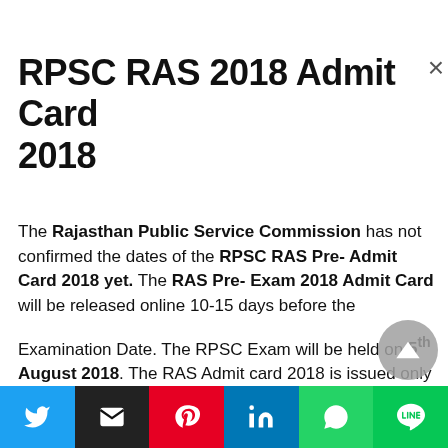RPSC RAS 2018 Admit Card 2018
The Rajasthan Public Service Commission has not confirmed the dates of the RPSC RAS Pre- Admit Card 2018 yet. The RAS Pre- Exam 2018 Admit Card will be released online 10-15 days before the Examination Date. The RPSC Exam will be held on 5th August 2018. The RAS Admit card 2018 is issued only to those candidates who have submitted the RAS 2018 Application Form. the RPSC will conduct the...